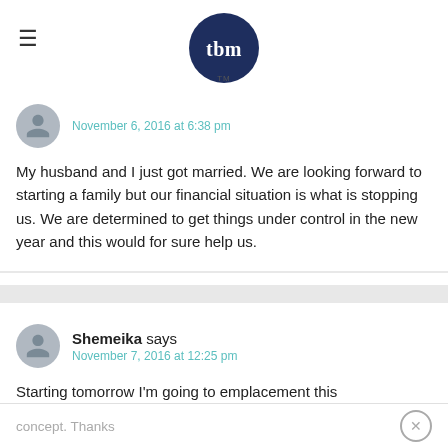tbm
November 6, 2016 at 6:38 pm
My husband and I just got married. We are looking forward to starting a family but our financial situation is what is stopping us. We are determined to get things under control in the new year and this would for sure help us.
Shemeika says
November 7, 2016 at 12:25 pm
Starting tomorrow I'm going to emplacement this concept. Thanks